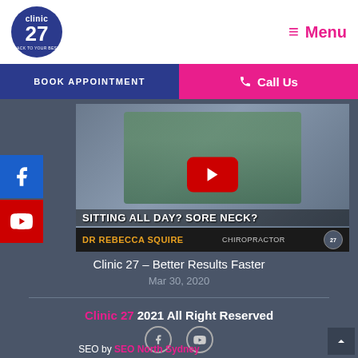[Figure (logo): Clinic 27 circular logo in dark blue with white text]
Menu
BOOK APPOINTMENT
Call Us
[Figure (screenshot): YouTube video thumbnail showing a woman in teal top sitting, with text: SITTING ALL DAY? SORE NECK? DR REBECCA SQUIRE CHIROPRACTOR. Red YouTube play button overlay.]
[Figure (logo): Facebook icon white on blue square]
[Figure (logo): YouTube icon white on red square]
Clinic 27 – Better Results Faster
Mar 30, 2020
Clinic 27 2021 All Right Reserved
SEO by SEO North Sydney